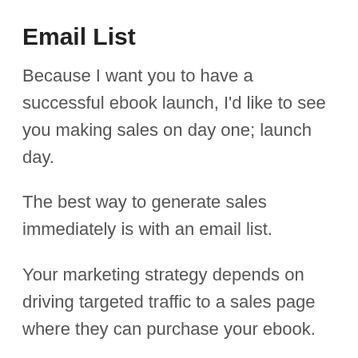Email List
Because I want you to have a successful ebook launch, I'd like to see you making sales on day one; launch day.
The best way to generate sales immediately is with an email list.
Your marketing strategy depends on driving targeted traffic to a sales page where they can purchase your ebook.